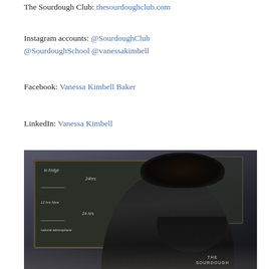The Sourdough Club: thesourdoughclub.com
Instagram accounts: @SourdoughClub @SourdoughSchool @vanessakimbell
Facebook: Vanessa Kimbell Baker
LinkedIn: Vanessa Kimbell
[Figure (photo): A young man wearing a black 'The Sourdough' t-shirt, looking down, standing in front of a dark chalkboard with handwritten chalk notes about fermentation timings (e.g. 'in fridge 24hrs', '12 hrs Nive', '24 hrs', 'natural atmosphere'). The setting appears to be a bakery or sourdough school classroom.]